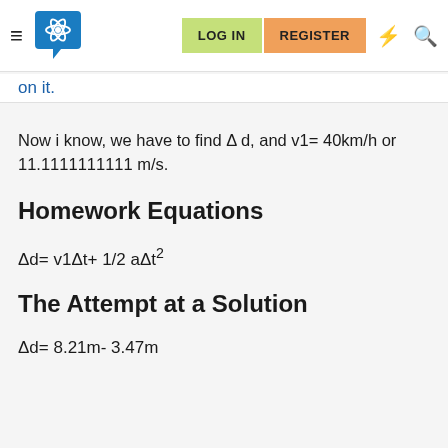LOG IN  REGISTER
on it.
Now i know, we have to find Δ d, and v1= 40km/h or 11.1111111111 m/s.
Homework Equations
The Attempt at a Solution